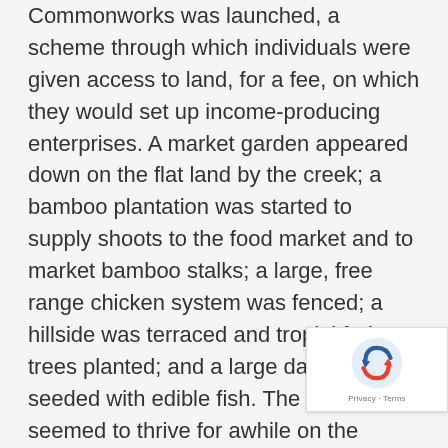Commonworks was launched, a scheme through which individuals were given access to land, for a fee, on which they would set up income-producing enterprises. A market garden appeared down on the flat land by the creek; a bamboo plantation was started to supply shoots to the food market and to market bamboo stalks; a large, free range chicken system was fenced; a hillside was terraced and tropial fruit trees planted; and a large dam was seeded with edible fish. The scheme seemed to thrive for awhile on the enthusiasm of those setting up the enterprises. Within a few years, however, it had collapsed.

It was now the late-1990s and it was a time of
[Figure (other): reCAPTCHA badge with Privacy and Terms links]